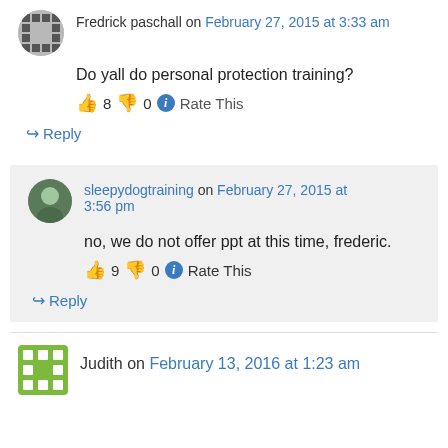Fredrick paschall on February 27, 2015 at 3:33 am
Do yall do personal protection training?
👍 8 👎 0 ℹ Rate This
↪ Reply
sleepydogtraining on February 27, 2015 at 3:56 pm
no, we do not offer ppt at this time, frederic.
👍 9 👎 0 ℹ Rate This
↪ Reply
Judith on February 13, 2016 at 1:23 am